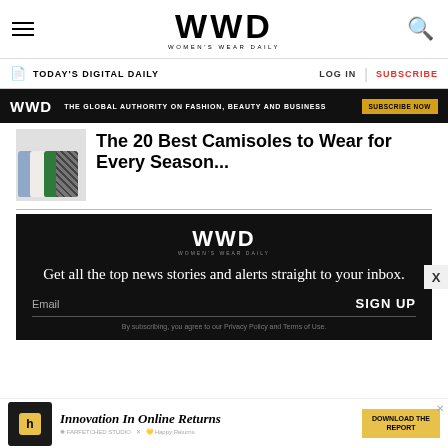WWD WOMEN'S WEAR DAILY
TODAY'S DIGITAL DAILY    LOG IN    SUBSCRIBE
WWD THE GLOBAL AUTHORITY ON FASHION, BEAUTY AND BUSINESS  SUBSCRIBE NOW
The 20 Best Camisoles to Wear for Every Season...
[Figure (photo): Group of camisoles in blue, white, green, and patterned fabric]
Get all the top news stories and alerts straight to your inbox.
Email   SIGN UP
By subscribing, you agree to our Privacy Policy and Terms of Use.
[Figure (other): Advertisement: Innovation In Online Returns — Happy Returns — DOWNLOAD THE REPORT]